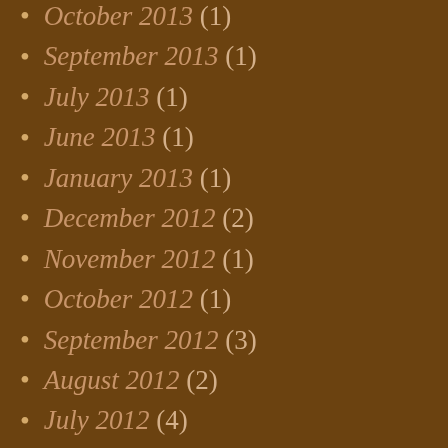October 2013 (1)
September 2013 (1)
July 2013 (1)
June 2013 (1)
January 2013 (1)
December 2012 (2)
November 2012 (1)
October 2012 (1)
September 2012 (3)
August 2012 (2)
July 2012 (4)
June 2012 (5)
May 2012 (7)
April 2012 (4)
March 2012 (4)
February 2012 (4)